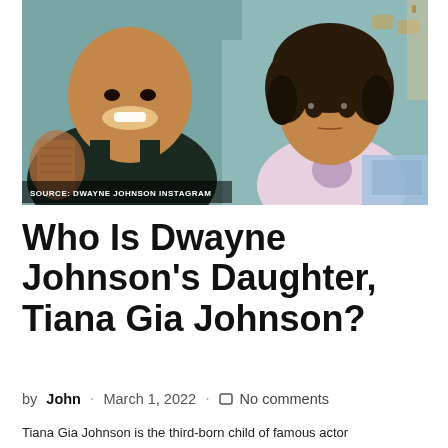[Figure (photo): Dwayne Johnson smiling with his young daughter Tiana Gia Johnson in a room. Source caption: SOURCE: DWAYNE JOHNSON INSTAGRAM]
Who Is Dwayne Johnson's Daughter, Tiana Gia Johnson?
by John · March 1, 2022 · No comments
Tiana Gia Johnson is the third-born child of famous actor...